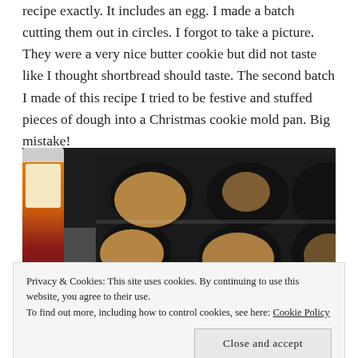recipe exactly. It includes an egg. I made a batch cutting them out in circles. I forgot to take a picture. They were a very nice butter cookie but did not taste like I thought shortbread should taste. The second batch I made of this recipe I tried to be festive and stuffed pieces of dough into a Christmas cookie mold pan. Big mistake!
[Figure (photo): A black Christmas cookie mold pan with cookie dough pressed into some of the molds, sitting on a granite countertop. A spice jar (orange and red) is visible on the left side.]
Privacy & Cookies: This site uses cookies. By continuing to use this website, you agree to their use.
To find out more, including how to control cookies, see here: Cookie Policy
Close and accept